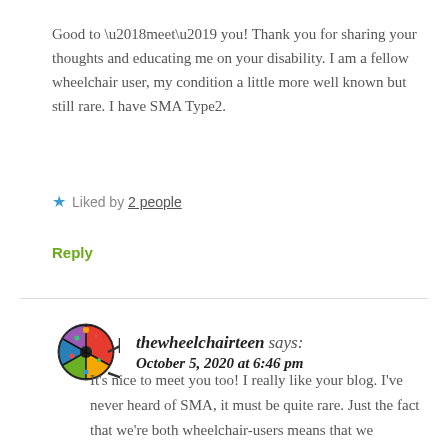Good to ‘meet’ you! Thank you for sharing your thoughts and educating me on your disability. I am a fellow wheelchair user, my condition a little more well known but still rare. I have SMA Type2.
★ Liked by 2 people
Reply
thewheelchairteen says: October 5, 2020 at 6:46 pm
It’s nice to meet you too! I really like your blog. I’ve never heard of SMA, it must be quite rare. Just the fact that we’re both wheelchair-users means that we probably have a lot in common when it comes to social experiences though. I